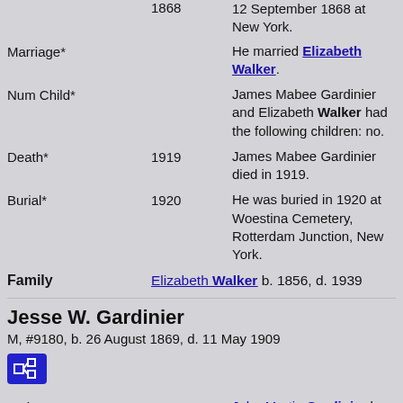| Event | Date | Description |
| --- | --- | --- |
|  | 1868 | 12 September 1868 at New York. |
| Marriage* |  | He married Elizabeth Walker. |
| Num Child* |  | James Mabee Gardinier and Elizabeth Walker had the following children: no. |
| Death* | 1919 | James Mabee Gardinier died in 1919. |
| Burial* | 1920 | He was buried in 1920 at Woestina Cemetery, Rotterdam Junction, New York. |
Family   Elizabeth Walker b. 1856, d. 1939
Jesse W. Gardinier
M, #9180, b. 26 August 1869, d. 11 May 1909
Father*   John Martin Gardinier b. 18 Jul 1836, d.